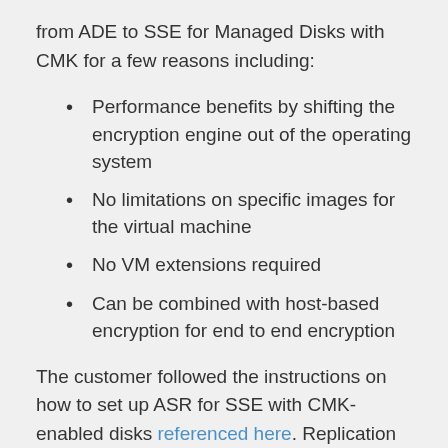from ADE to SSE for Managed Disks with CMK for a few reasons including:
Performance benefits by shifting the encryption engine out of the operating system
No limitations on specific images for the virtual machine
No VM extensions required
Can be combined with host-based encryption for end to end encryption
The customer followed the instructions on how to set up ASR for SSE with CMK-enabled disks referenced here. Replication was successful but they noticed the data disk they had attached to the VM in the source region was not automatically attached to the VM in the destination region and required manual attachment.